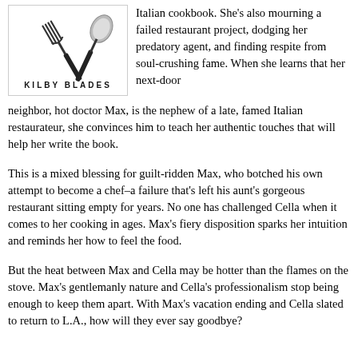[Figure (illustration): Book cover for a novel by Kilby Blades, showing crossed fork and spoon utensils on a white background with the author name 'KILBY BLADES' printed beneath them.]
Italian cookbook. She's also mourning a failed restaurant project, dodging her predatory agent, and finding respite from soul-crushing fame. When she learns that her next-door neighbor, hot doctor Max, is the nephew of a late, famed Italian restaurateur, she convinces him to teach her authentic touches that will help her write the book.
This is a mixed blessing for guilt-ridden Max, who botched his own attempt to become a chef–a failure that's left his aunt's gorgeous restaurant sitting empty for years. No one has challenged Cella when it comes to her cooking in ages. Max's fiery disposition sparks her intuition and reminds her how to feel the food.
But the heat between Max and Cella may be hotter than the flames on the stove. Max's gentlemanly nature and Cella's professionalism stop being enough to keep them apart. With Max's vacation ending and Cella slated to return to L.A., how will they ever say goodbye?